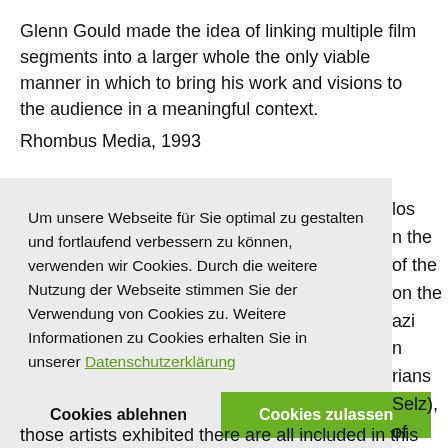Glenn Gould made the idea of linking multiple film segments into a larger whole the only viable manner in which to bring his work and visions to the audience in a meaningful context.
Rhombus Media, 1993
Um unsere Webseite für Sie optimal zu gestalten und fortlaufend verbessern zu können, verwenden wir Cookies. Durch die weitere Nutzung der Webseite stimmen Sie der Verwendung von Cookies zu. Weitere Informationen zu Cookies erhalten Sie in unserer Datenschutzerklärung
those artists exhibited there are all included in this